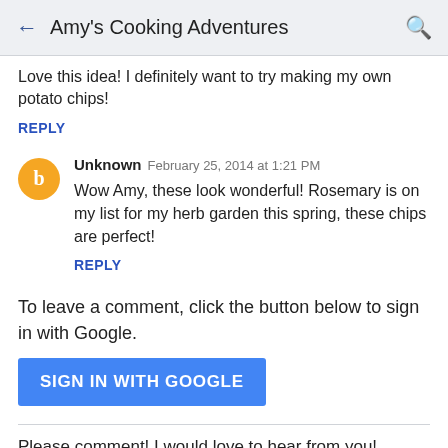Amy's Cooking Adventures
Love this idea! I definitely want to try making my own potato chips!
REPLY
Unknown  February 25, 2014 at 1:21 PM
Wow Amy, these look wonderful! Rosemary is on my list for my herb garden this spring, these chips are perfect!
REPLY
To leave a comment, click the button below to sign in with Google.
SIGN IN WITH GOOGLE
Please comment! I would love to hear from you!